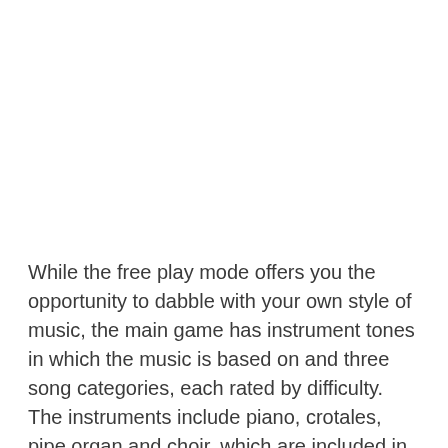While the free play mode offers you the opportunity to dabble with your own style of music, the main game has instrument tones in which the music is based on and three song categories, each rated by difficulty. The instruments include piano, crotales, pipe organ and choir, which are included in the free version. An electric guitar and violin instrument are also available for $0.99 each via in-app purchases.